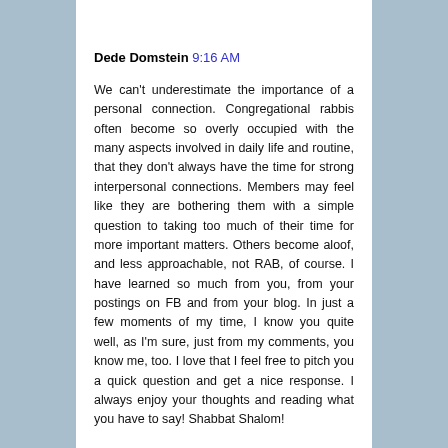Dede Domstein 9:16 AM
We can't underestimate the importance of a personal connection. Congregational rabbis often become so overly occupied with the many aspects involved in daily life and routine, that they don't always have the time for strong interpersonal connections. Members may feel like they are bothering them with a simple question to taking too much of their time for more important matters. Others become aloof, and less approachable, not RAB, of course. I have learned so much from you, from your postings on FB and from your blog. In just a few moments of my time, I know you quite well, as I'm sure, just from my comments, you know me, too. I love that I feel free to pitch you a quick question and get a nice response. I always enjoy your thoughts and reading what you have to say! Shabbat Shalom!